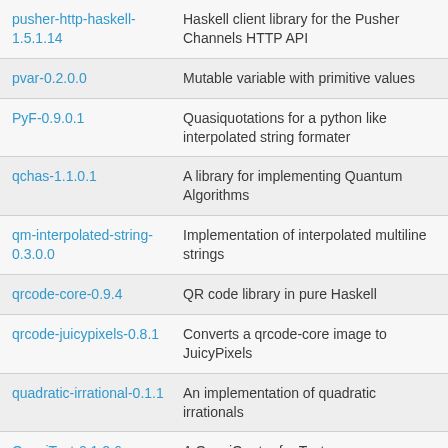| Package | Description |
| --- | --- |
| pusher-http-haskell-1.5.1.14 | Haskell client library for the Pusher Channels HTTP API |
| pvar-0.2.0.0 | Mutable variable with primitive values |
| PyF-0.9.0.1 | Quasiquotations for a python like interpolated string formater |
| qchas-1.1.0.1 | A library for implementing Quantum Algorithms |
| qm-interpolated-string-0.3.0.0 | Implementation of interpolated multiline strings |
| qrcode-core-0.9.4 | QR code library in pure Haskell |
| qrcode-juicypixels-0.8.1 | Converts a qrcode-core image to JuicyPixels |
| quadratic-irrational-0.1.1 | An implementation of quadratic irrationals |
| QuasiText-0.1.2.6 | A QuasiQuoter for Text |